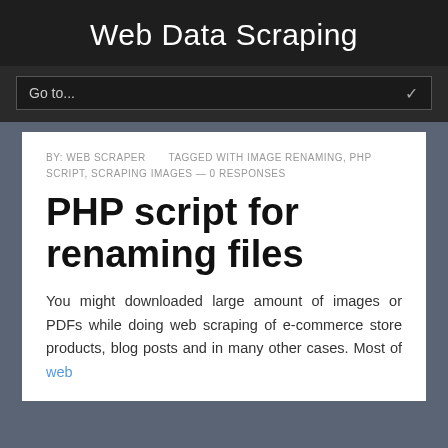Web Data Scraping
Go to...
BY: WEB SCRAPER      TAGGED WITH IMAGE RENAMING, PHP SCRIPT, SCRAPING IMAGES — 0 RESPONSES
PHP script for renaming files
You might downloaded large amount of images or PDFs while doing web scraping of e-commerce store products, blog posts and in many other cases. Most of web scraping tools provide file download...